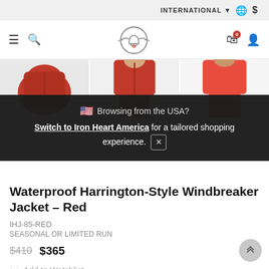INTERNATIONAL ▾ 🌐 $
[Figure (logo): Iron Heart winged bell logo in circle]
[Figure (screenshot): Three product photos of red Harrington-style jacket]
🇺🇸 Browsing from the USA? Switch to Iron Heart America for a tailored shopping experience. ✕
Waterproof Harrington-Style Windbreaker Jacket – Red
IHJ-85-RED
SEASONAL OR LIMITED RUN
$410   $365
♥ Add to Watchlist